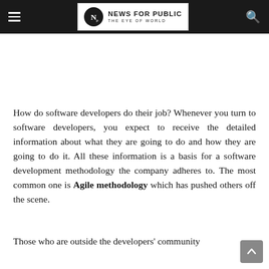NEWS FOR PUBLIC — THE EYE OF WORLD
How do software developers do their job? Whenever you turn to software developers, you expect to receive the detailed information about what they are going to do and how they are going to do it. All these information is a basis for a software development methodology the company adheres to. The most common one is Agile methodology which has pushed others off the scene.
Those who are outside the developers' community